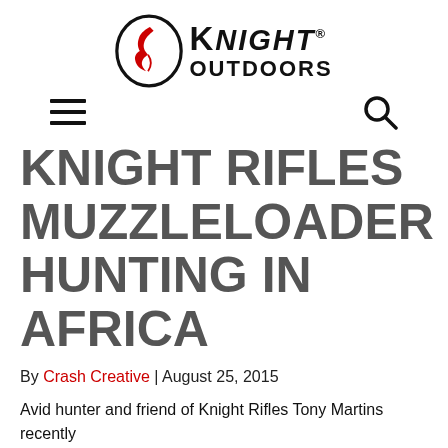[Figure (logo): Knight Outdoors logo with oval emblem containing a face profile in red and black, beside bold text reading KNIGHT OUTDOORS]
[Figure (infographic): Navigation bar with hamburger menu icon on left and search magnifying glass icon on right]
KNIGHT RIFLES MUZZLELOADER HUNTING IN AFRICA
By Crash Creative | August 25, 2015
Avid hunter and friend of Knight Rifles Tony Martins recently